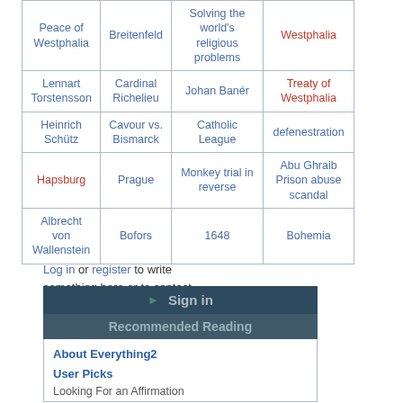| Adolphus | Years War | of Prague | Empire |
| --- | --- | --- | --- |
| Peace of Westphalia | Breitenfeld | Solving the world's religious problems | Westphalia |
| Lennart Torstensson | Cardinal Richelieu | Johan Banér | Treaty of Westphalia |
| Heinrich Schütz | Cavour vs. Bismarck | Catholic League | defenestration |
| Hapsburg | Prague | Monkey trial in reverse | Abu Ghraib Prison abuse scandal |
| Albrecht von Wallenstein | Bofors | 1648 | Bohemia |
Log in or register to write something here or to contact authors.
Sign in
Recommended Reading
About Everything2
User Picks
Looking For an Affirmation